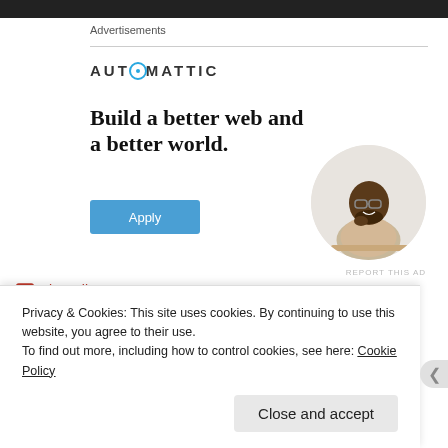[Figure (photo): Dark photo strip at top of page]
Advertisements
[Figure (logo): Automattic logo with stylized O]
Build a better web and a better world.
[Figure (photo): Circular photo of a Black man with glasses, thinking, at a desk]
REPORT THIS AD
View all 2 comments
Privacy & Cookies: This site uses cookies. By continuing to use this website, you agree to their use.
To find out more, including how to control cookies, see here: Cookie Policy
Close and accept